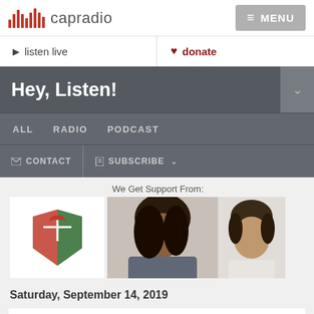capradio
listen live
donate
Hey, Listen!
ALL   RADIO   PODCAST
CONTACT   SUBSCRIBE
We Get Support From:
[Figure (logo): Sponsor logo with shield/crest design in red and green]
[Figure (photo): Photo of a young Black woman looking down, and a man in background]
Saturday, September 14, 2019
Living Life